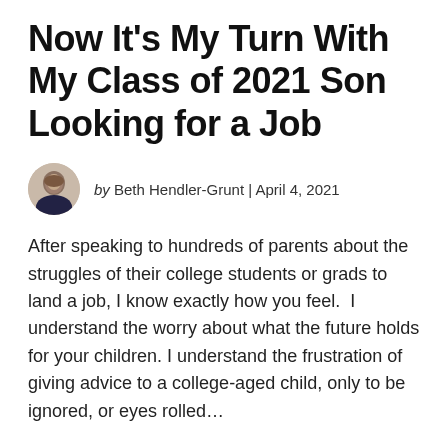Now It's My Turn With My Class of 2021 Son Looking for a Job
by Beth Hendler-Grunt | April 4, 2021
After speaking to hundreds of parents about the struggles of their college students or grads to land a job, I know exactly how you feel.  I understand the worry about what the future holds for your children. I understand the frustration of giving advice to a college-aged child, only to be ignored, or eyes rolled…
CONTINUE READING